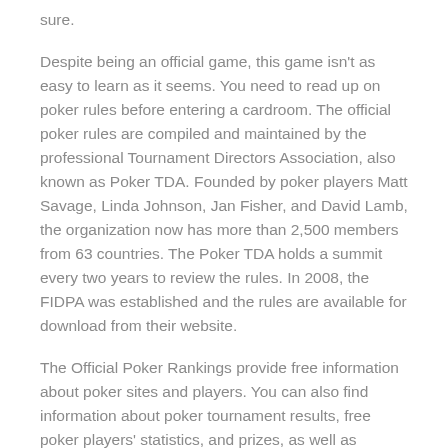sure.
Despite being an official game, this game isn't as easy to learn as it seems. You need to read up on poker rules before entering a cardroom. The official poker rules are compiled and maintained by the professional Tournament Directors Association, also known as Poker TDA. Founded by poker players Matt Savage, Linda Johnson, Jan Fisher, and David Lamb, the organization now has more than 2,500 members from 63 countries. The Poker TDA holds a summit every two years to review the rules. In 2008, the FIDPA was established and the rules are available for download from their website.
The Official Poker Rankings provide free information about poker sites and players. You can also find information about poker tournament results, free poker players' statistics, and prizes, as well as ranking of poker tournaments. You can also check out the poker player's profitability with the Official Poker Rankings, which are updated every day. You can even find out